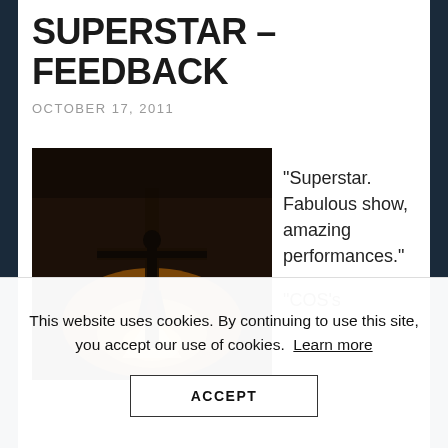SUPERSTAR – FEEDBACK
OCTOBER 17, 2011
[Figure (photo): Silhouette of a crucifixion scene on stage with dramatic warm backlight forming a triangle/cross shape against dark background]
“Superstar. Fabulous show, amazing performances.”
“COS’s
This website uses cookies. By continuing to use this site, you accept our use of cookies.  Learn more
ACCEPT